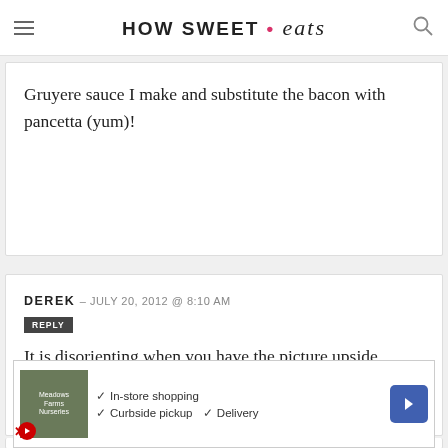HOW SWEET eats
Gruyere sauce I make and substitute the bacon with pancetta (yum)!
DEREK – JULY 20, 2012 @ 8:10 AM
REPLY
It is disorienting when you have the picture upside down, i feel like i'm falling out of my seat.
SA
[Figure (screenshot): Advertisement banner with play button, store thumbnail, checkmarks for In-store shopping, Curbside pickup, Delivery, and a blue arrow navigation icon]